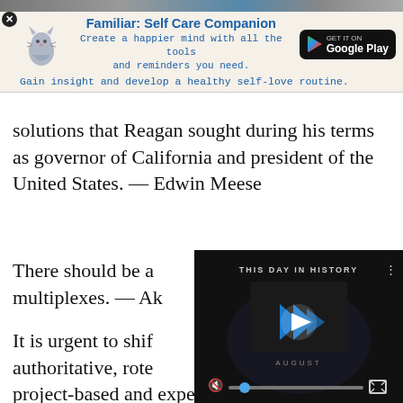[Figure (screenshot): Advertisement banner for 'Familiar: Self Care Companion' app with cat illustration, Google Play button, and tagline]
solutions that Reagan sought during his terms as governor of California and president of the United States. — Edwin Meese
There should be a... multiplexes. — Ak...
[Figure (screenshot): Video player showing 'THIS DAY IN HISTORY' with blue logo, mute icon, seek bar, and fullscreen button]
It is urgent to shif... authoritative, rote... project-based and experiential approach. Specific hard skills are fundamental, but is